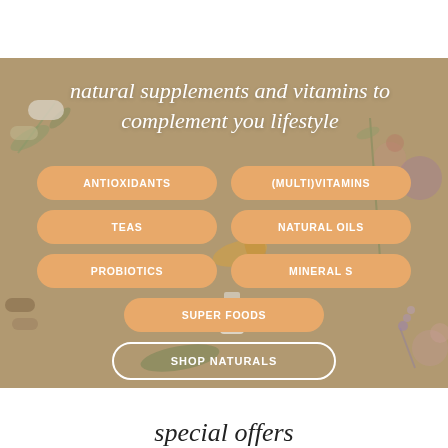[Figure (photo): Hero section with natural supplements, herbs, flowers, pills, and oils arranged on a tan/beige background]
natural supplements and vitamins to complement you lifestyle
ANTIOXIDANTS
(MULTI)VITAMINS
TEAS
NATURAL OILS
PROBIOTICS
MINERALS
SUPER FOODS
SHOP NATURALS
special offers